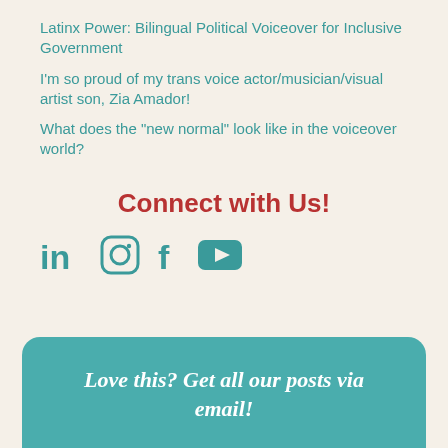Latinx Power: Bilingual Political Voiceover for Inclusive Government
I’m so proud of my trans voice actor/musician/visual artist son, Zia Amador!
What does the “new normal” look like in the voiceover world?
Connect with Us!
[Figure (illustration): Social media icons: LinkedIn, Instagram, Facebook, YouTube in teal color]
Love this? Get all our posts via email!